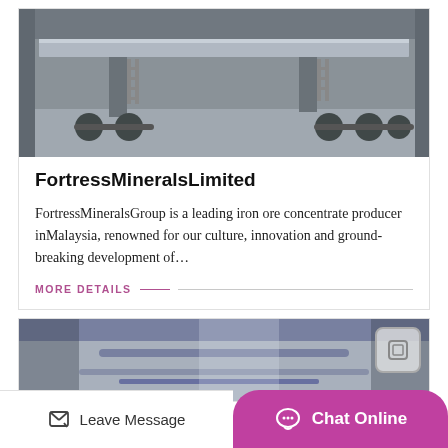[Figure (photo): Industrial flatbed trailer/vehicle photographed outdoors on a concrete surface, showing metal structure with ladders]
FortressMineralsLimited
FortressMineralsGroup is a leading iron ore concentrate producer inMalaysia, renowned for our culture, innovation and ground-breaking development of…
MORE DETAILS
[Figure (photo): Industrial interior or machinery photo, partially visible at bottom of page]
Leave Message   Chat Online